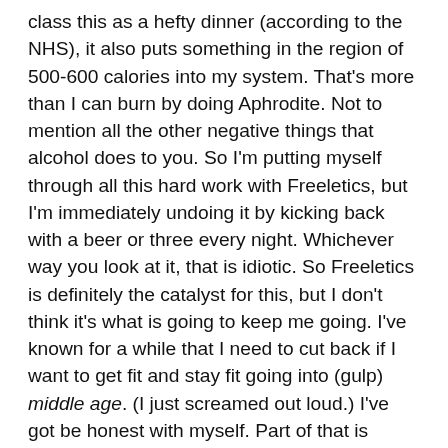class this as a hefty dinner (according to the NHS), it also puts something in the region of 500-600 calories into my system. That's more than I can burn by doing Aphrodite. Not to mention all the other negative things that alcohol does to you. So I'm putting myself through all this hard work with Freeletics, but I'm immediately undoing it by kicking back with a beer or three every night. Whichever way you look at it, that is idiotic. So Freeletics is definitely the catalyst for this, but I don't think it's what is going to keep me going. I've known for a while that I need to cut back if I want to get fit and stay fit going into (gulp) middle age. (I just screamed out loud.) I've got be honest with myself. Part of that is writing about it here. I'm not going to give up drinking. That would be mental. I'm just going to do it like a normal person, give my liver a few days off every